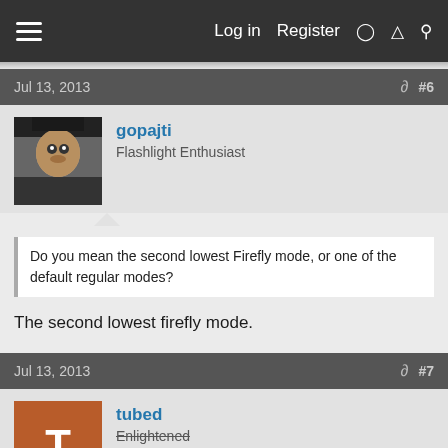Log in  Register
Jul 13, 2013  #6
gopajti
Flashlight Enthusiast
Do you mean the second lowest Firefly mode, or one of the default regular modes?
The second lowest firefly mode.
Jul 13, 2013  #7
tubed
Enlightened